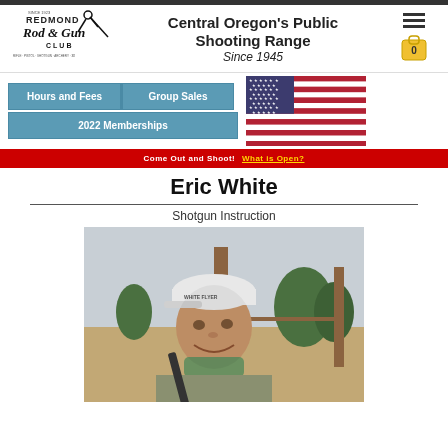[Figure (logo): Redmond Rod & Gun Club logo with text and shooting figure silhouette]
Central Oregon's Public Shooting Range
Since 1945
[Figure (other): Hamburger menu icon and shopping cart icon with 0]
Hours and Fees
Group Sales
2022 Memberships
[Figure (illustration): American flag image]
Come Out and Shoot! What is Open?
Eric White
Shotgun Instruction
[Figure (photo): Photo of Eric White wearing a White Flyer cap and holding a shotgun outdoors at a shooting range with trees and wooden structure in background]